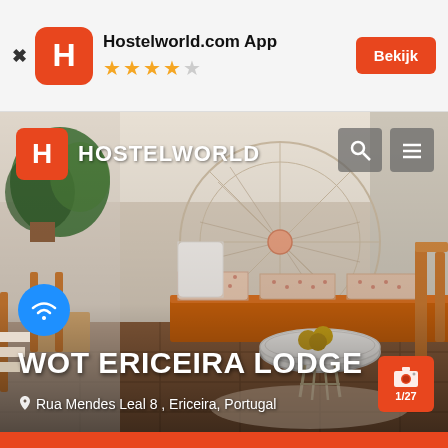[Figure (screenshot): Top app banner for Hostelworld.com App with orange H logo, 4 out of 5 star rating, and orange Bekijk button]
[Figure (photo): Interior photo of Wot Ericeira Lodge showing a cozy room with orange bench seating, patterned cushions, a round decorative wall piece, white wicker table with fruits, and plants. Hostelworld logo overlay at top left, search and menu icons at top right, WiFi badge, hotel name and address at bottom, camera/photo count badge at bottom right.]
WOT ERICEIRA LODGE
Rua Mendes Leal 8 , Ericeira, Portugal